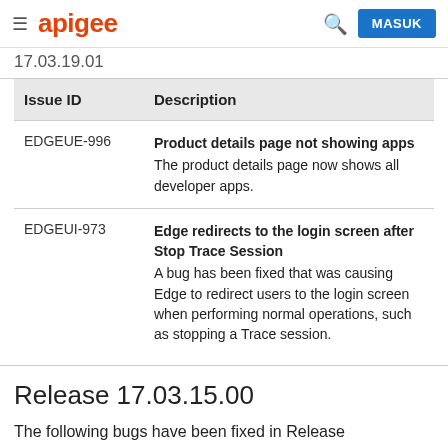≡ apigee  🔍 MASUK
17.03.19.01 (or similar truncated heading)
| Issue ID | Description |
| --- | --- |
| EDGEUE-996 | Product details page not showing apps
The product details page now shows all developer apps. |
| EDGEUI-973 | Edge redirects to the login screen after Stop Trace Session
A bug has been fixed that was causing Edge to redirect users to the login screen when performing normal operations, such as stopping a Trace session. |
Release 17.03.15.00
The following bugs have been fixed in Release